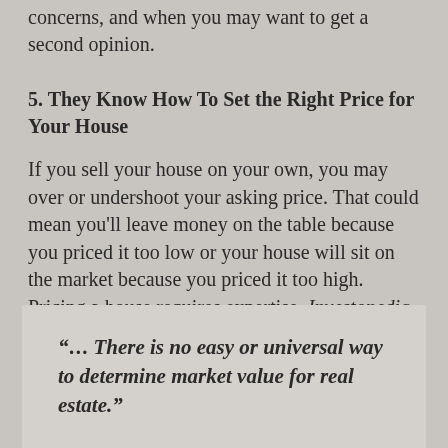concerns, and when you may want to get a second opinion.
5. They Know How To Set the Right Price for Your House
If you sell your house on your own, you may over or undershoot your asking price. That could mean you'll leave money on the table because you priced it too low or your house will sit on the market because you priced it too high. Pricing a house requires expertise. Investopedia explains it like this:
“ . . . There is no easy or universal way to determine market value for real estate.”